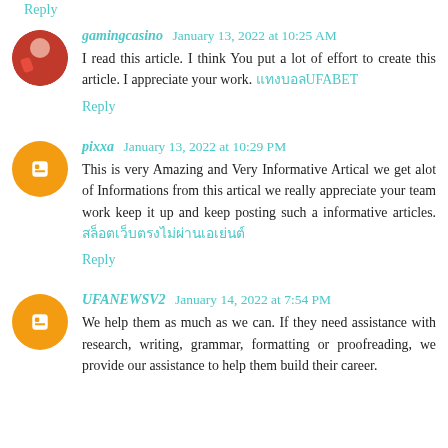Reply
gamingcasino January 13, 2022 at 10:25 AM
I read this article. I think You put a lot of effort to create this article. I appreciate your work. แทงบอลUFABET
Reply
pixxa January 13, 2022 at 10:29 PM
This is very Amazing and Very Informative Artical we get alot of Informations from this artical we really appreciate your team work keep it up and keep posting such a informative articles. สล็อตเว็บตรงไม่ผ่านเอเย่นต์
Reply
UFANEWSV2 January 14, 2022 at 7:54 PM
We help them as much as we can. If they need assistance with research, writing, grammar, formatting or proofreading, we provide our assistance to help them build their career.